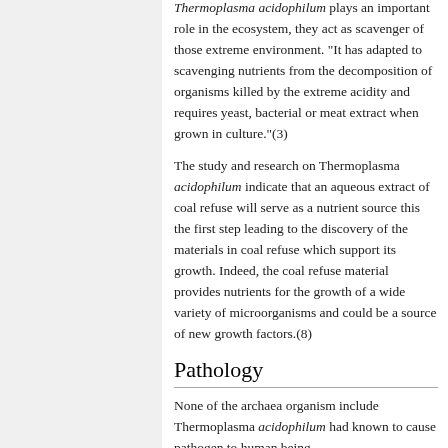'Thermoplasma acidophilum plays an important role in the ecosystem, they act as scavenger of those extreme environment. "It has adapted to scavenging nutrients from the decomposition of organisms killed by the extreme acidity and requires yeast, bacterial or meat extract when grown in culture."(3)
The study and research on Thermoplasma acidophilum indicate that an aqueous extract of coal refuse will serve as a nutrient source this the first step leading to the discovery of the materials in coal refuse which support its growth. Indeed, the coal refuse material provides nutrients for the growth of a wide variety of microorganisms and could be a source of new growth factors.(8)
Pathology
None of the archaea organism include Thermoplasma acidophilum had known to cause pathogen to human being.
Applications to Biotechnology